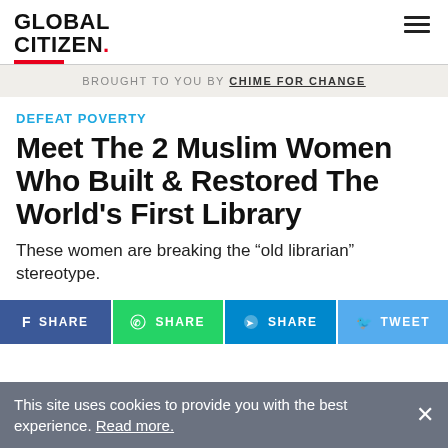GLOBAL CITIZEN.
BROUGHT TO YOU BY CHIME FOR CHANGE
DEFEAT POVERTY
Meet The 2 Muslim Women Who Built & Restored The World's First Library
These women are breaking the "old librarian" stereotype.
SHARE | SHARE | SHARE | TWEET
This site uses cookies to provide you with the best experience. Read more.